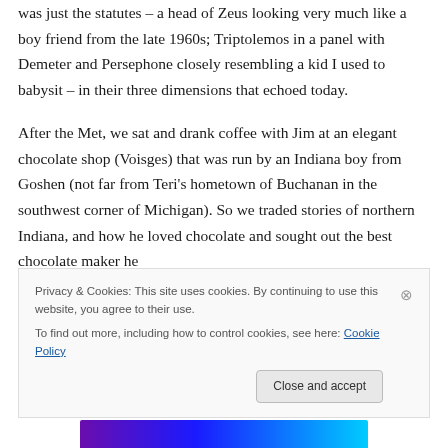was just the statutes – a head of Zeus looking very much like a boy friend from the late 1960s; Triptolemos in a panel with Demeter and Persephone closely resembling a kid I used to babysit – in their three dimensions that echoed today.
After the Met, we sat and drank coffee with Jim at an elegant chocolate shop (Voisges) that was run by an Indiana boy from Goshen (not far from Teri's hometown of Buchanan in the southwest corner of Michigan). So we traded stories of northern Indiana, and how he loved chocolate and sought out the best chocolate maker he
Privacy & Cookies: This site uses cookies. By continuing to use this website, you agree to their use.
To find out more, including how to control cookies, see here: Cookie Policy